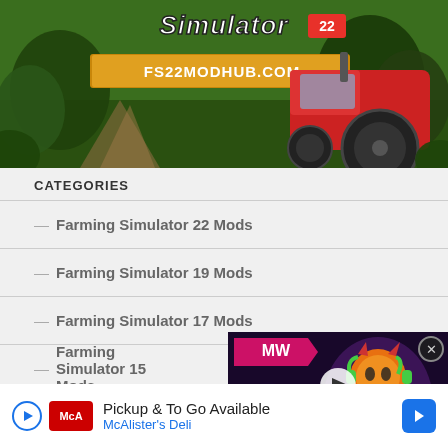[Figure (screenshot): Farming Simulator 22 banner advertisement with tractor and FS22MODHUB.COM URL on golden banner]
CATEGORIES
Farming Simulator 22 Mods
Farming Simulator 19 Mods
Farming Simulator 17 Mods
Farming Simulator 15 Mods
TOP 3 THIS MONTH
[Figure (screenshot): Saints Row Gameplay Trailer video overlay with MW logo, character with glowing pumpkin head, play button]
[Figure (screenshot): Thumbnail image of a green farming vehicle partially visible at bottom left]
Pickup & To Go Available McAlister's Deli